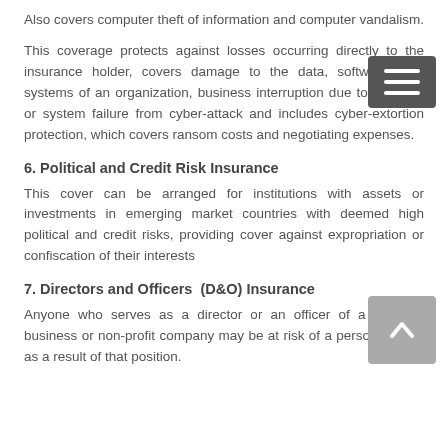Also covers computer theft of information and computer vandalism.
This coverage protects against losses occurring directly to the insurance holder, covers damage to the data, software, and systems of an organization, business interruption due to software or system failure from cyber-attack and includes cyber-extortion protection, which covers ransom costs and negotiating expenses.
6. Political and Credit Risk Insurance
This cover can be arranged for institutions with assets or investments in emerging market countries with deemed high political and credit risks, providing cover against expropriation or confiscation of their interests
7. Directors and Officers (D&O) Insurance
Anyone who serves as a director or an officer of a for-profit business or non-profit company may be at risk of a personal claim as a result of that position.